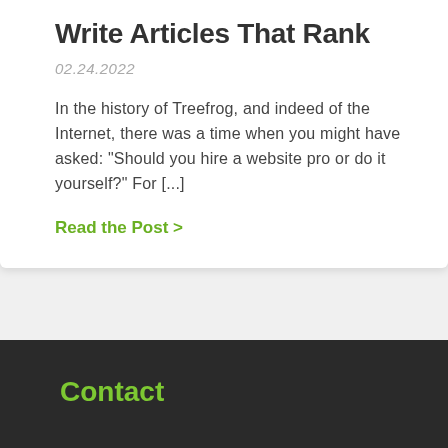Write Articles That Rank
02.24.2022
In the history of Treefrog, and indeed of the Internet, there was a time when you might have asked: “Should you hire a website pro or do it yourself?” For [...]
Read the Post >
Contact